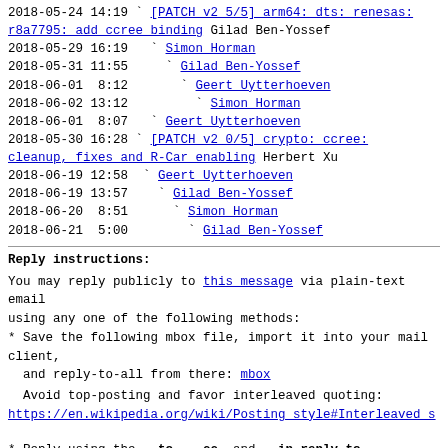2018-05-24 14:19  [PATCH v2 5/5] arm64: dts: renesas: r8a7795: add ccree binding Gilad Ben-Yossef
2018-05-29 16:19    Simon Horman
2018-05-31 11:55      Gilad Ben-Yossef
2018-06-01  8:12        Geert Uytterhoeven
2018-06-02 13:12          Simon Horman
2018-06-01  8:07    Geert Uytterhoeven
2018-05-30 16:28  [PATCH v2 0/5] crypto: ccree: cleanup, fixes and R-Car enabling Herbert Xu
2018-06-19 12:58  Geert Uytterhoeven
2018-06-19 13:57    Gilad Ben-Yossef
2018-06-20  8:51      Simon Horman
2018-06-21  5:00        Gilad Ben-Yossef
Reply instructions:
You may reply publicly to this message via plain-text email
using any one of the following methods:
* Save the following mbox file, import it into your mail client,
  and reply-to-all from there: mbox
Avoid top-posting and favor interleaved quoting:
https://en.wikipedia.org/wiki/Posting_style#Interleaved_s
* Reply using the --to, --cc, and --in-reply-to